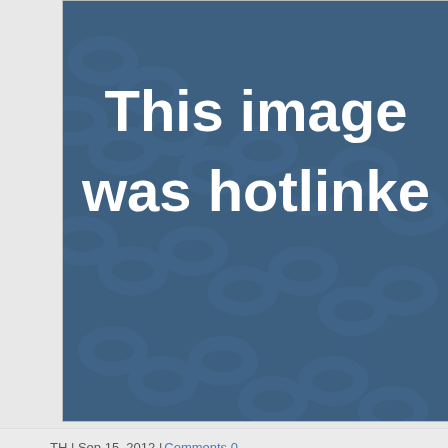[Figure (photo): Hotlinked image placeholder with blue background and chain link pattern, displaying text 'This image was hotlinked']
TH | Sep 15, 2012 | Comments 0
Local hotel & restaurant association publishes